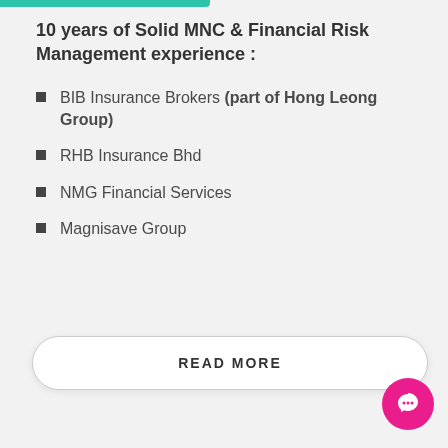10 years of Solid MNC & Financial Risk Management experience :
BIB Insurance Brokers (part of Hong Leong Group)
RHB Insurance Bhd
NMG Financial Services
Magnisave Group
READ MORE